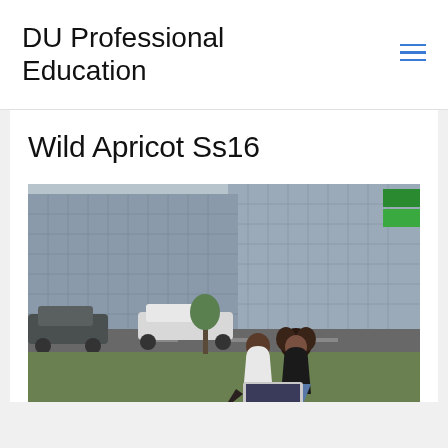DU Professional Education
Wild Apricot Ss16
[Figure (photo): Two people sitting on grass in front of a modern glass office building, looking at a laptop together. Urban setting with cars and street visible in the background.]